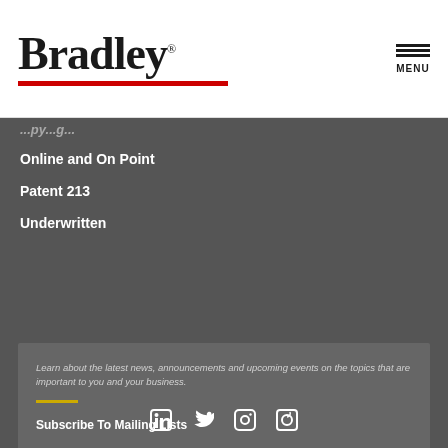[Figure (logo): Bradley law firm logo with red underline]
Online and On Point
Patent 213
Underwritten
Learn about the latest news, announcements and upcoming events on the topics that are important to you and your business.
Subscribe To Mailing Lists
CLIENT EXTRANET | CONTACT | PRIVACY POLICY | LEGAL DISCLAIMER | CCPA DISCLOSURE AND PRIVACY POLICY | REMOTE ACCESS | ALUMNI | WORLD SERVICES GROUP | ATTORNEY ADVERTISING | ©2022 BRADLEY ARANT BOULT CUMMINGS LLP